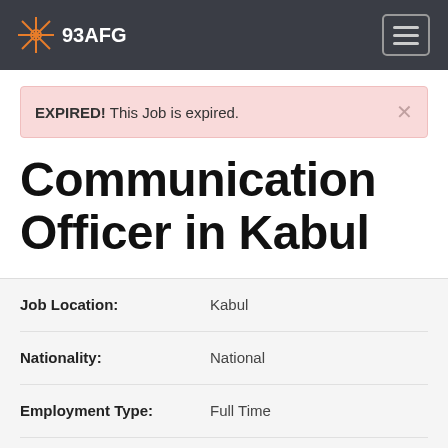93AFG
EXPIRED! This Job is expired.
Communication Officer in Kabul
| Field | Value |
| --- | --- |
| Job Location: | Kabul |
| Nationality: | National |
| Employment Type: | Full Time |
| Category: | Other |